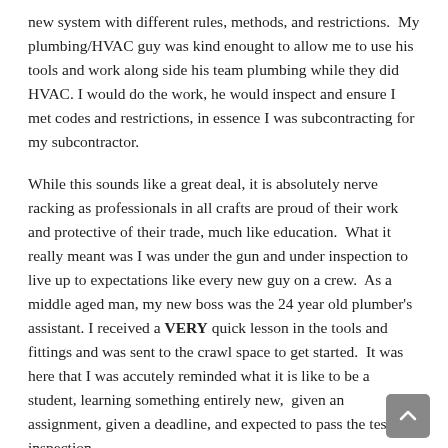new system with different rules, methods, and restrictions.  My plumbing/HVAC guy was kind enought to allow me to use his tools and work along side his team plumbing while they did HVAC. I would do the work, he would inspect and ensure I met codes and restrictions, in essence I was subcontracting for my subcontractor.
While this sounds like a great deal, it is absolutely nerve racking as professionals in all crafts are proud of their work and protective of their trade, much like education.  What it really meant was I was under the gun and under inspection to live up to expectations like every new guy on a crew.  As a middle aged man, my new boss was the 24 year old plumber's assistant. I received a VERY quick lesson in the tools and fittings and was sent to the crawl space to get started.  It was here that I was accutely reminded what it is like to be a student, learning something entirely new,  given an assignment, given a deadline, and expected to pass the test...err inspection.
There were a few lessons I learned through this proces